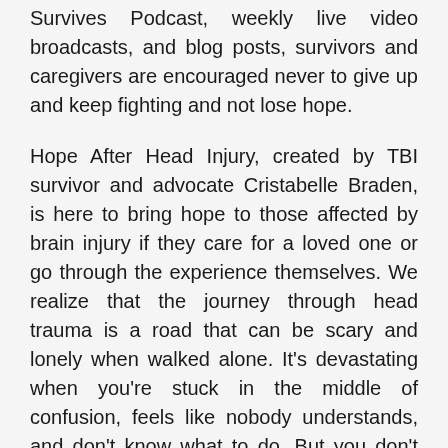Survives Podcast, weekly live video broadcasts, and blog posts, survivors and caregivers are encouraged never to give up and keep fighting and not lose hope.
Hope After Head Injury, created by TBI survivor and advocate Cristabelle Braden, is here to bring hope to those affected by brain injury if they care for a loved one or go through the experience themselves. We realize that the journey through head trauma is a road that can be scary and lonely when walked alone. It's devastating when you're stuck in the middle of confusion, feels like nobody understands, and don't know what to do. But you don't have to fight this battle alone.
Millions of people have experienced brain injury and understand what you are going through. Every episode contains valued information about living with brain injury.